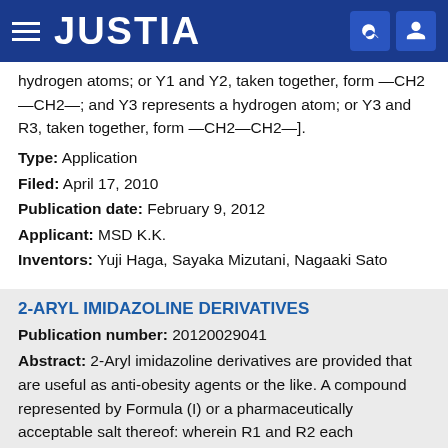JUSTIA
hydrogen atoms; or Y1 and Y2, taken together, form —CH2—CH2—; and Y3 represents a hydrogen atom; or Y3 and R3, taken together, form —CH2—CH2—].
Type: Application
Filed: April 17, 2010
Publication date: February 9, 2012
Applicant: MSD K.K.
Inventors: Yuji Haga, Sayaka Mizutani, Nagaaki Sato
2-ARYL IMIDAZOLINE DERIVATIVES
Publication number: 20120029041
Abstract: 2-Aryl imidazoline derivatives are provided that are useful as anti-obesity agents or the like. A compound represented by Formula (I) or a pharmaceutically acceptable salt thereof: wherein R1 and R2 each independently represent a hydrogen atom,